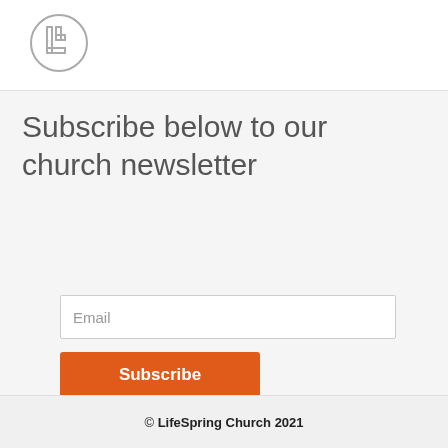[Figure (logo): LifeSpring Church logo: a circle with a stylized L letter inside]
Subscribe below to our church newsletter
Email
Subscribe
© LifeSpring Church 2021